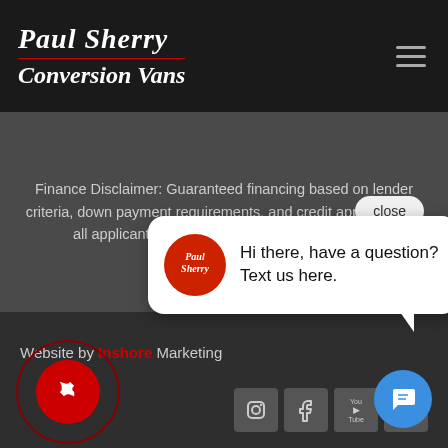[Figure (logo): Paul Sherry Conversion Vans logo in italic script on dark header bar]
Finance Disclaimer: Guaranteed financing based on lender criteria, down payment requirements, and credit approval. Not all applicants will qualify. See dealer for details.
Website by Inshore Marketing
[Figure (screenshot): Chat popup bubble with Paul Sherry logo icon and message: Hi there, have a question? Text us here.]
[Figure (screenshot): Social media icons: Instagram, Facebook, YouTube on dark footer]
[Figure (illustration): Red phone call button circle and blue chat FAB button]